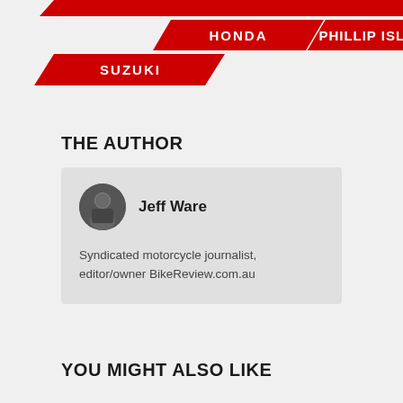[Figure (logo): Red parallelogram banner with white text labels: HONDA, PHILLIP ISLAND, SUZUKI]
THE AUTHOR
Jeff Ware
Syndicated motorcycle journalist, editor/owner BikeReview.com.au
YOU MIGHT ALSO LIKE